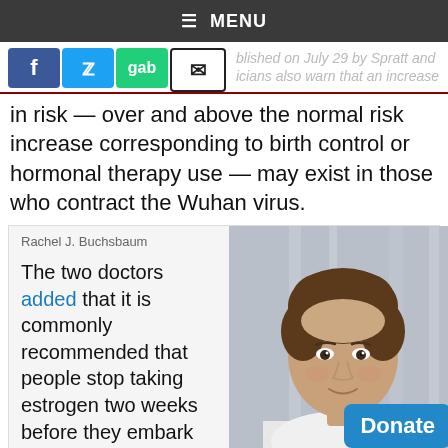☰ MENU
published on July 29 by Spratt and icians also warn that an increase in risk — over and above the normal risk increase corresponding to birth control or hormonal therapy use — may exist in those who contract the Wuhan virus.
Rachel J. Buchsbaum
The two doctors added that it is commonly recommended that people stop taking estrogen two weeks before they embark on
[Figure (photo): Headshot photo of Rachel J. Buchsbaum, a woman with short brown hair wearing a white top, photographed against a light gray background with vertical elements.]